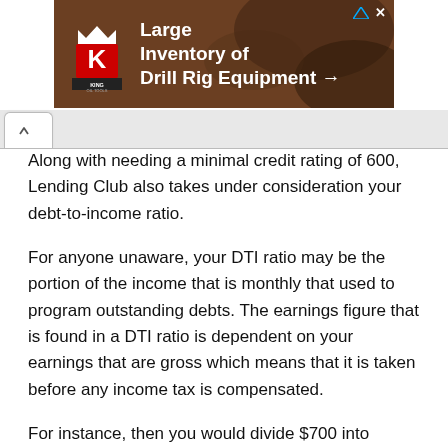[Figure (other): Advertisement banner for King Oil Tools showing large inventory of Drill Rig Equipment with logo and background photo of drilling equipment]
Along with needing a minimal credit rating of 600, Lending Club also takes under consideration your debt-to-income ratio.
For anyone unaware, your DTI ratio may be the portion of the income that is monthly that used to program outstanding debts. The earnings figure that is found in a DTI ratio is dependent on your earnings that are gross which means that it is taken before any income tax is compensated.
For instance, then you would divide $700 into $3000 if you have a gross monthly income of $3,000, and your monthly